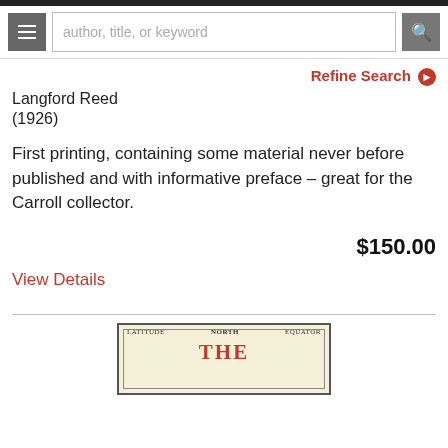author, title, or keyword
Refine Search
Langford Reed
(1926)
First printing, containing some material never before published and with informative preface – great for the Carroll collector.
$150.00
View Details
[Figure (illustration): Partial view of a vintage map with cream/yellow background showing text 'NORTH', 'LATITUDE', 'EQUATOR' at top and large red 'THE' text visible at bottom, with decorative border.]